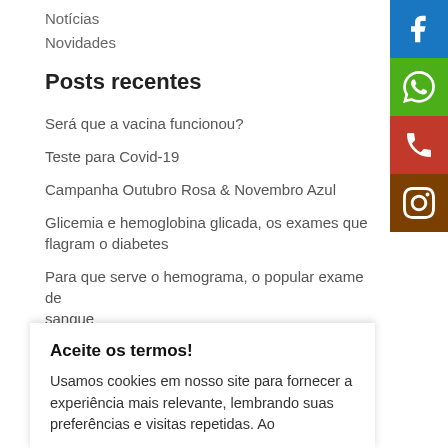Notícias
Novidades
Posts recentes
Será que a vacina funcionou?
Teste para Covid-19
Campanha Outubro Rosa & Novembro Azul
Glicemia e hemoglobina glicada, os exames que flagram o diabetes
Para que serve o hemograma, o popular exame de sangue
[Figure (infographic): Social media icon buttons: Facebook (blue), WhatsApp (green), Phone (red), Instagram (brown)]
Aceite os termos!
Usamos cookies em nosso site para fornecer a experiência mais relevante, lembrando suas preferências e visitas repetidas. Ao
outubro 2019